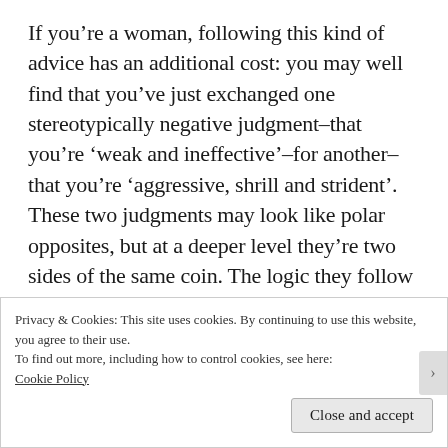If you're a woman, following this kind of advice has an additional cost: you may well find that you've just exchanged one stereotypically negative judgment–that you're 'weak and ineffective'–for another–that you're 'aggressive, shrill and strident'. These two judgments may look like polar opposites, but at a deeper level they're two sides of the same coin. The logic they follow is one in which (1) whatever men are said to do with language is axiomatically
Privacy & Cookies: This site uses cookies. By continuing to use this website, you agree to their use.
To find out more, including how to control cookies, see here: Cookie Policy
Close and accept